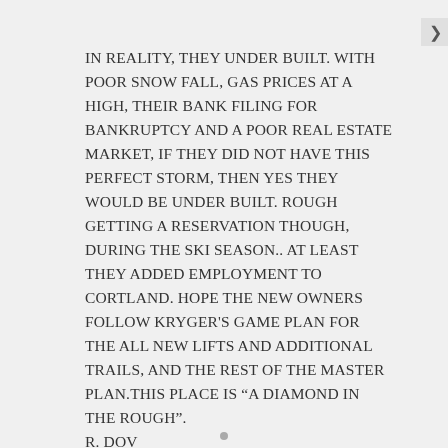IN REALITY, THEY UNDER BUILT. WITH POOR SNOW FALL, GAS PRICES AT A HIGH, THEIR BANK FILING FOR BANKRUPTCY AND A POOR REAL ESTATE MARKET, IF THEY DID NOT HAVE THIS PERFECT STORM, THEN YES THEY WOULD BE UNDER BUILT. ROUGH GETTING A RESERVATION THOUGH, DURING THE SKI SEASON.. AT LEAST THEY ADDED EMPLOYMENT TO CORTLAND. HOPE THE NEW OWNERS FOLLOW KRYGER'S GAME PLAN FOR THE ALL NEW LIFTS AND ADDITIONAL TRAILS, AND THE REST OF THE MASTER PLAN.THIS PLACE IS “A DIAMOND IN THE ROUGH”.
R. DOV
Privacy & Cookies: This site uses cookies. By continuing to use this website, you agree to their use.
To find out more, including how to control cookies, see here: Cookie Policy
Close and accept